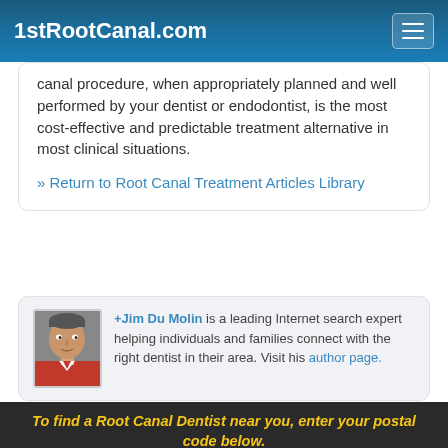1stRootCanal.com
canal procedure, when appropriately planned and well performed by your dentist or endodontist, is the most cost-effective and predictable treatment alternative in most clinical situations.
» Return to Root Canal Treatment Articles Library
+Jim Du Molin is a leading Internet search expert helping individuals and families connect with the right dentist in their area. Visit his author page.
To find a Root Canal Dentist near you, enter your postal code below.
Enter Your Postal Code Here
Click Here To Find a Dentist